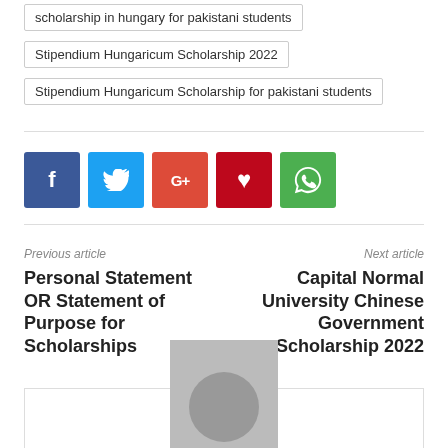scholarship in hungary for pakistani students
Stipendium Hungaricum Scholarship 2022
Stipendium Hungaricum Scholarship for pakistani students
[Figure (infographic): Social media share buttons: Facebook (blue), Twitter (light blue), Google+ (red-orange), Pinterest (dark red), WhatsApp (green)]
Previous article
Personal Statement OR Statement of Purpose for Scholarships
Next article
Capital Normal University Chinese Government Scholarship 2022
[Figure (photo): Author avatar placeholder — grey rectangle with circular head silhouette]